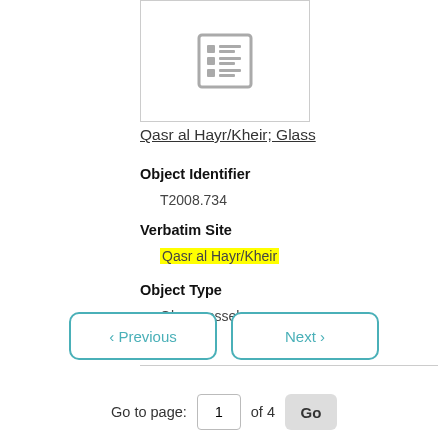[Figure (other): Thumbnail placeholder icon showing a list/table icon in a bordered box]
Qasr al Hayr/Kheir; Glass
Object Identifier
T2008.734
Verbatim Site
Qasr al Hayr/Kheir
Object Type
Glass vessels
Materials